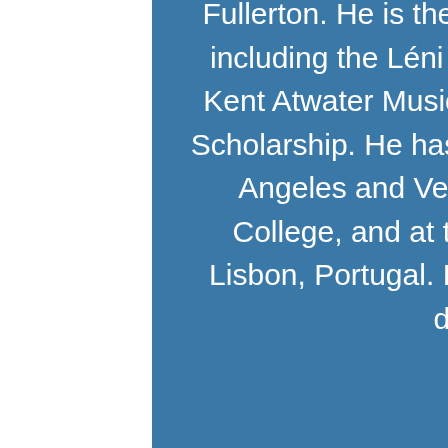Fullerton. He is the recipient of several scholarships including the Léni Fé Bland Music Scholarship, the Kent Atwater Music Fellowship, and the Ebell Music Scholarship. He has taught masterclasses for the Los Angeles and Ventura School Districts, Cerritos College, and at the Superior School of Music of Lisbon, Portugal. In 2010 he published his doctoral dissertation titled